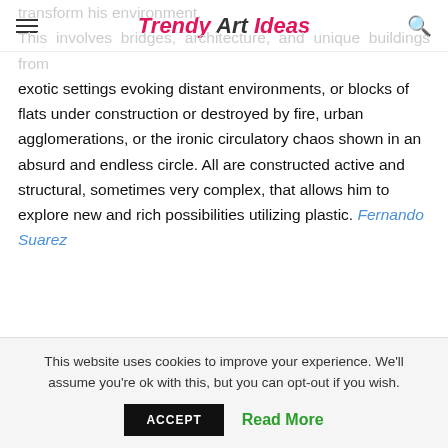Trendy Art Ideas
transform his environment. This involves bridges, architecture, and unique buildings from exotic settings evoking distant environments, or blocks of flats under construction or destroyed by fire, urban agglomerations, or the ironic circulatory chaos shown in an absurd and endless circle. All are constructed active and structural, sometimes very complex, that allows him to explore new and rich possibilities utilizing plastic. Fernando Suarez
This website uses cookies to improve your experience. We'll assume you're ok with this, but you can opt-out if you wish.